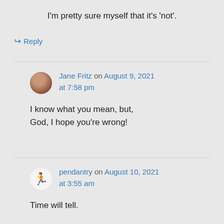I'm pretty sure myself that it's 'not'.
↳ Reply
Jane Fritz on August 9, 2021 at 7:58 pm
I know what you mean, but, God, I hope you're wrong!
pendantry on August 10, 2021 at 3:55 am
Time will tell.